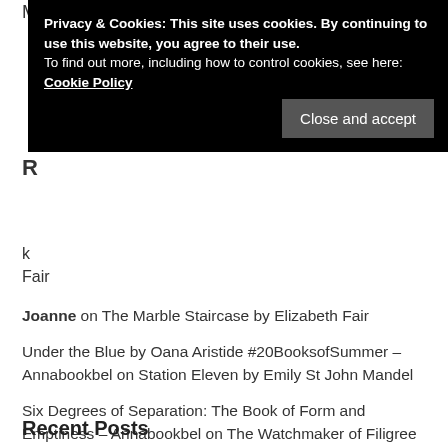My Tweets
Privacy & Cookies: This site uses cookies. By continuing to use this website, you agree to their use. To find out more, including how to control cookies, see here: Cookie Policy
Close and accept
R…
k…
Fair
Joanne on The Marble Staircase by Elizabeth Fair
Under the Blue by Oana Aristide #20BooksofSummer – Annabookbel on Station Eleven by Emily St John Mandel
Six Degrees of Separation: The Book of Form and Emptiness – Annabookbel on The Watchmaker of Filigree Street by Natasha Pulley
State of the TBR – August 2022 | Adventures in reading, running and working from home on Going to Church in Medieval England by Nicholas Orme
Recent Posts